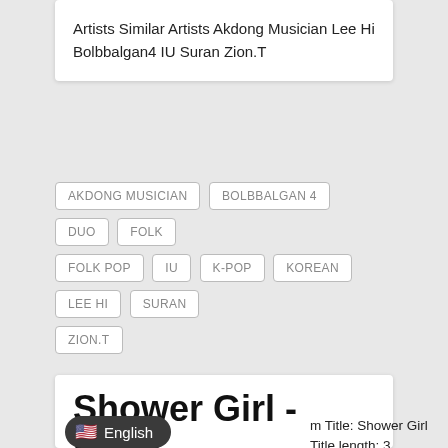Artists Similar Artists Akdong Musician Lee Hi Bolbbalgan4 IU Suran Zion.T
AKDONG MUSICIAN
BOLBBALGAN 4
DUO
FOLK
FOLK POP
IU
K-POP
KOREAN
LEE HI
SURAN
ZION.T
Shower Girl - Eddy Kim
✏ SHOUTCAST TOOLS (TITLE) / 📅 FEBRUARY 19, 2019 / 🏷 EDDY KIM / 💬 LEAVE A COMMENT
m Title: Shower Girl Title length: 3 3 seconds Release: 01/21/2015 Country: